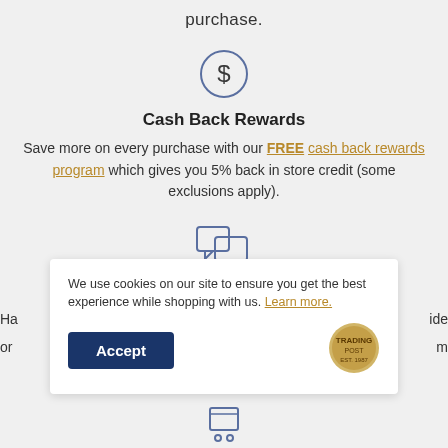purchase.
[Figure (illustration): Dollar sign icon inside a circle, outlined in slate blue]
Cash Back Rewards
Save more on every purchase with our FREE cash back rewards program which gives you 5% back in store credit (some exclusions apply).
[Figure (illustration): Two speech bubble chat icons, outlined in slate blue]
Top-notch support
Ha... ...ide
or... ...m
We use cookies on our site to ensure you get the best experience while shopping with us. Learn more.
Accept
[Figure (logo): Round logo emblem in gold tones]
[Figure (illustration): Shopping cart icon at bottom]